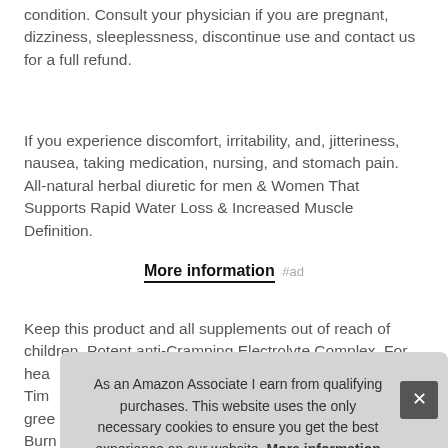condition. Consult your physician if you are pregnant, dizziness, sleeplessness, discontinue use and contact us for a full refund.
If you experience discomfort, irritability, and, jitteriness, nausea, taking medication, nursing, and stomach pain. All-natural herbal diuretic for men & Women That Supports Rapid Water Loss & Increased Muscle Definition.
More information #ad
Keep this product and all supplements out of reach of children. Potent anti-Cramping Electrolyte Complex. For hea Tim gree Burn
As an Amazon Associate I earn from qualifying purchases. This website uses the only necessary cookies to ensure you get the best experience on our website. More information